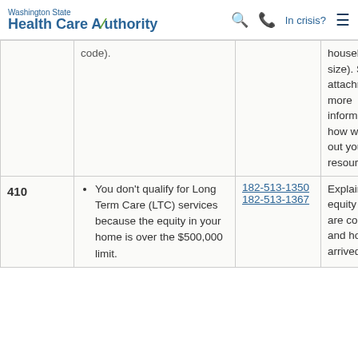Washington State Health Care Authority | In crisis?
| Code | Description | WAC | Details |
| --- | --- | --- | --- |
|  | code). |  | household size). See the attachment for more information on how we figured out your resources |
| 410 | You don't qualify for Long Term Care (LTC) services because the equity in your home is over the $500,000 limit. | 182-513-1350 182-513-1367 | Explain the equity value we are counting and how we arrived at that |